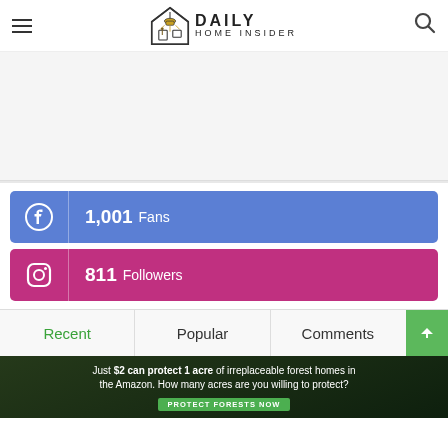Daily Home Insider — navigation header with hamburger menu and search icon
[Figure (infographic): White ad space placeholder area]
1,001 Fans — Facebook social bar (blue)
811 Followers — Instagram social bar (pink/magenta)
Recent | Popular | Comments — tab navigation with scroll-to-top button
[Figure (infographic): Advertisement banner: Just $2 can protect 1 acre of irreplaceable forest homes in the Amazon. How many acres are you willing to protect? PROTECT FORESTS NOW]